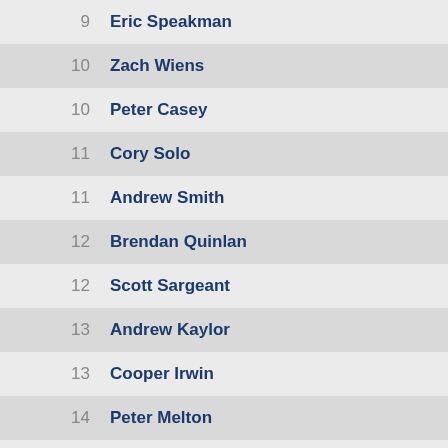9  Eric Speakman
10  Zach Wiens
10  Peter Casey
11  Cory Solo
11  Andrew Smith
12  Brendan Quinlan
12  Scott Sargeant
13  Andrew Kaylor
13  Cooper Irwin
14  Peter Melton
14  Anthonoy Melton